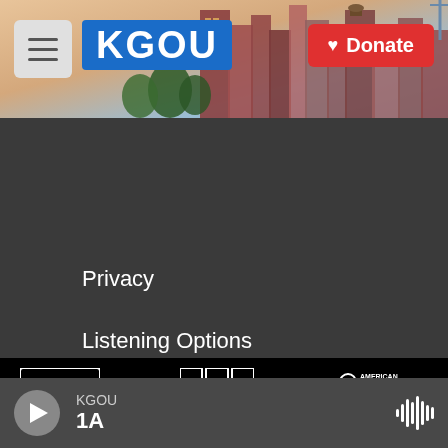[Figure (screenshot): KGOU radio website header with city background, hamburger menu button, KGOU logo in blue, and red Donate button]
Privacy
Listening Options
Support our work
Contact Us
[Figure (logo): Partner logos row: NPR, BBC, American Public Media, PRX, OU (University of Oklahoma)]
[Figure (screenshot): Audio player bar showing KGOU / 1A with play button and waveform icon]